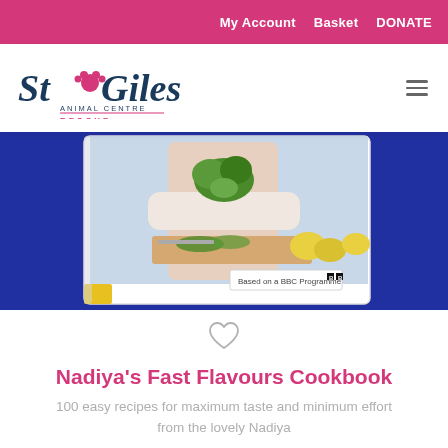My Account   Basket   DONATE
[Figure (logo): St Giles Animal Centre Rescue logo with paw print]
[Figure (photo): A cookbook product photo showing a person holding herbs over a cutting board with lemons, with text 'Based on a BBC Programme' and BBC logo. The book has a blue cover.]
Nadiya's Fast Flavours Cookbook
100 easy recipes for maximum taste and minimum effort from the lovely Nadiya
£9.99